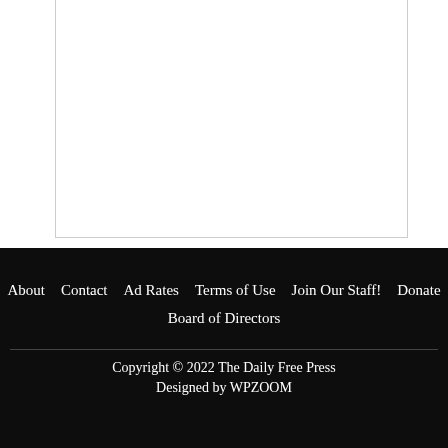About  Contact  Ad Rates  Terms of Use  Join Our Staff!  Donate  Board of Directors
Copyright © 2022 The Daily Free Press
Designed by WPZOOM